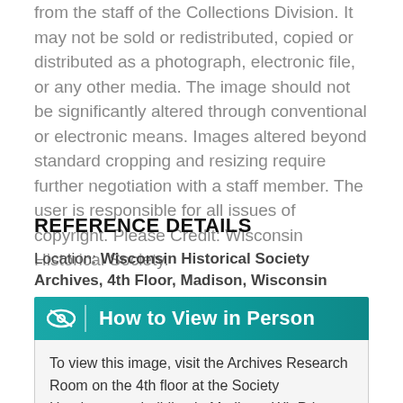from the staff of the Collections Division. It may not be sold or redistributed, copied or distributed as a photograph, electronic file, or any other media. The image should not be significantly altered through conventional or electronic means. Images altered beyond standard cropping and resizing require further negotiation with a staff member. The user is responsible for all issues of copyright. Please Credit: Wisconsin Historical Society.
REFERENCE DETAILS
Location: Wisconsin Historical Society Archives, 4th Floor, Madison, Wisconsin
How to View in Person
To view this image, visit the Archives Research Room on the 4th floor at the Society Headquarters building in Madison, WI. Print out this index page and present it to